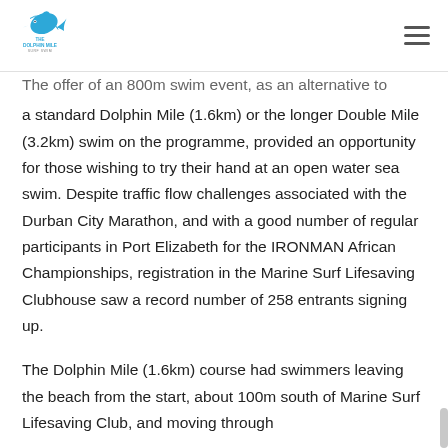The Dolphin Mile Surf Swim
The offer of an 800m swim event, as an alternative to a standard Dolphin Mile (1.6km) or the longer Double Mile (3.2km) swim on the programme, provided an opportunity for those wishing to try their hand at an open water sea swim.  Despite traffic flow challenges associated with the Durban City Marathon, and with a good number of regular participants in Port Elizabeth for the IRONMAN African Championships, registration in the Marine Surf Lifesaving Clubhouse saw a record number of 258 entrants signing up.
The Dolphin Mile (1.6km) course had swimmers leaving the beach from the start, about 100m south of Marine Surf Lifesaving Club, and moving through